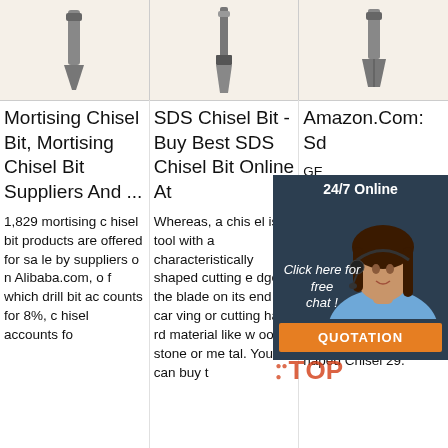[Figure (photo): Three chisel bit product images in a row on beige background]
Mortising Chisel Bit, Mortising Chisel Bit Suppliers And ...
1,829 mortising chisel bit products are offered for sale by suppliers on Alibaba.com, of which drill bit accounts for 8%, chisel accounts fo
SDS Chisel Bit - Buy Best SDS Chisel Bit Online At
Whereas, a chisel is a tool with a characteristically shaped cutting edge of the blade on its end for carving or cutting hard material like wood, stone or me tal. You can buy t
Amazon.Com: Sds Ch
GE e C SDS ete t Ro Incl d Chisel, Flat Chisel 20mm, 40m m, 75mm TOP C hisel 38mm, U-s haped Chisel 29.
[Figure (other): 24/7 Online chat widget with customer service representative photo, 'Click here for free chat!' text and orange QUOTATION button]